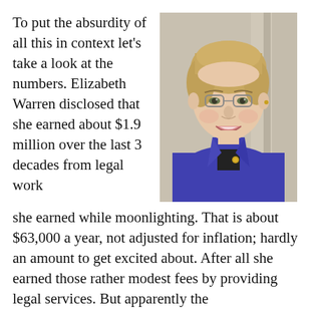To put the absurdity of all this in context let's take a look at the numbers. Elizabeth Warren disclosed that she earned about $1.9 million over the last 3 decades from legal work she earned while moonlighting. That is about $63,000 a year, not adjusted for inflation; hardly an amount to get excited about. After all she earned those rather modest fees by providing legal services. But apparently the
[Figure (photo): Portrait photo of Elizabeth Warren smiling, wearing a blue blazer, standing in front of stone columns.]